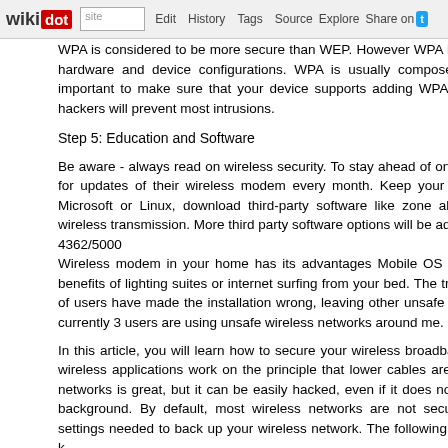wikidot | site | Edit | History | Tags | Source | Explore | Share on [Twitter]
WPA is considered to be more secure than WEP. However WPA is not kn hardware and device configurations. WPA is usually composed of m important to make sure that your device supports adding WPA encrypt hackers will prevent most intrusions.
Step 5: Education and Software
Be aware - always read on wireless security. To stay ahead of online Inte for updates of their wireless modem every month. Keep your desktop Microsoft or Linux, download third-party software like zone alarms, a wireless transmission. More third party software options will be added in t 4362/5000
Wireless modem in your home has its advantages Mobile OS applicati benefits of lighting suites or internet surfing from your bed. The tragic par of users have made the installation wrong, leaving other unsafe wireless currently 3 users are using unsafe wireless networks around me.
In this article, you will learn how to secure your wireless broadband at h wireless applications work on the principle that lower cables are as goo networks is great, but it can be easily hacked, even if it does not have t background. By default, most wireless networks are not secure. You settings needed to back up your wireless network. The following lists the k
Step 1: You need to know your current network setup
Wireless technology delivers data from one application to another transmitted signal is sometimes broadcasted miles away. Without a simp can encrypt, steal, and hack your data. Unsafe wireless private network is